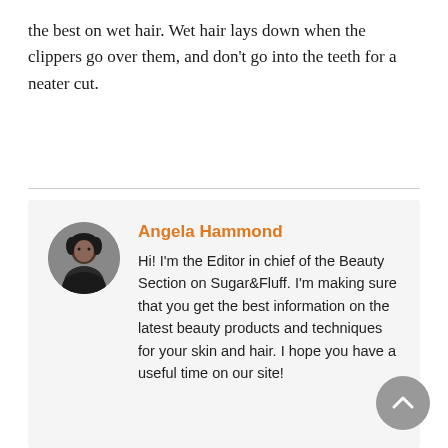the best on wet hair. Wet hair lays down when the clippers go over them, and don't go into the teeth for a neater cut.
Angela Hammond
Hi! I'm the Editor in chief of the Beauty Section on Sugar&Fluff. I'm making sure that you get the best information on the latest beauty products and techniques for your skin and hair. I hope you have a useful time on our site!